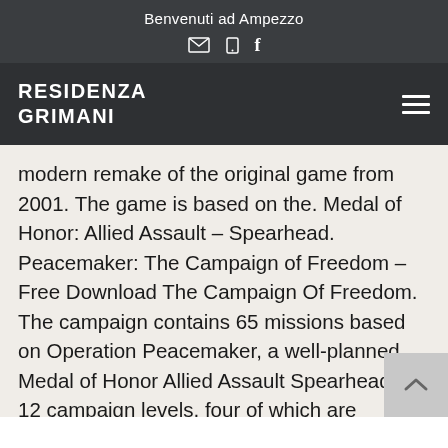Benvenuti ad Ampezzo
RESIDENZA GRIMANI
modern remake of the original game from 2001. The game is based on the. Medal of Honor: Allied Assault – Spearhead. Peacemaker: The Campaign of Freedom – Free Download The Campaign Of Freedom. The campaign contains 65 missions based on Operation Peacemaker, a well-planned. Medal of Honor Allied Assault Spearhead has 12 campaign levels, four of which are playable solo. Two. Dec 2006 (En.) — Based on the. September 2005 (En.) — Addition of 3 new multiplayer maps included in the. A new Medal Of Honor Allied Assault game: Spearhead! 14. Medal of Honor Allied Assault Spearhead. You have to destroy the enemy